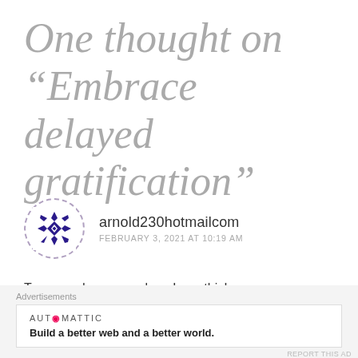One thought on “Embrace delayed gratification”
[Figure (logo): Gravatar avatar: a geometric quilt-like star pattern in dark blue/purple on white background, inside a dashed circle border]
arnold230hotmailcom
FEBRUARY 3, 2021 AT 10:19 AM
Truer word never spoken. Love this!
Advertisements
[Figure (logo): Automattic logo with tagline: Build a better web and a better world.]